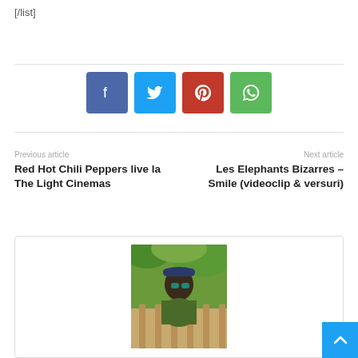[/list]
[Figure (infographic): Social share buttons: Facebook (blue), Twitter (light blue), Pinterest (red), WhatsApp (green)]
Previous article
Red Hot Chili Peppers live la The Light Cinemas
Next article
Les Elephants Bizarres – Smile (videoclip & versuri)
[Figure (photo): A person wearing sunglasses and a cap outdoors with green foliage in background]